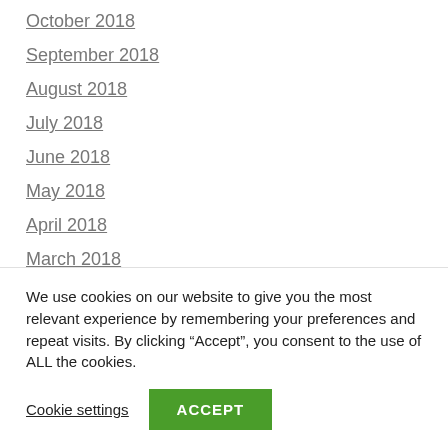October 2018
September 2018
August 2018
July 2018
June 2018
May 2018
April 2018
March 2018
February 2018
January 2018
December 2017
November 2017
We use cookies on our website to give you the most relevant experience by remembering your preferences and repeat visits. By clicking “Accept”, you consent to the use of ALL the cookies.
Cookie settings  ACCEPT